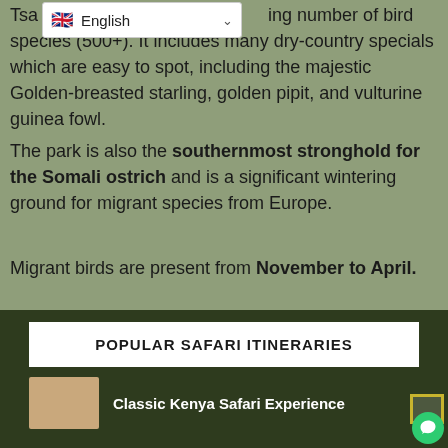Tsa... ing number of bird species (500+). It includes many dry-country specials which are easy to spot, including the majestic Golden-breasted starling, golden pipit, and vulturine guinea fowl.
The park is also the southernmost stronghold for the Somali ostrich and is a significant wintering ground for migrant species from Europe.
Migrant birds are present from November to April.
POPULAR SAFARI ITINERARIES
Classic Kenya Safari Experience